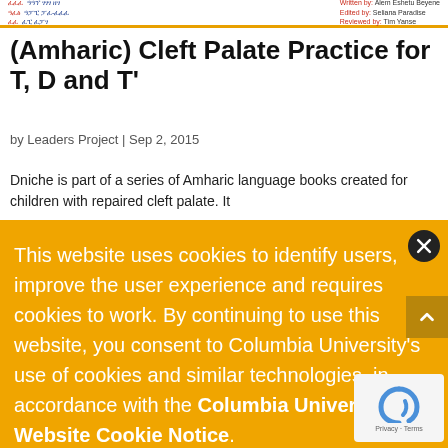Amharic header with written by, edited by, reviewed by fields
(Amharic) Cleft Palate Practice for T, D and T'
by Leaders Project | Sep 2, 2015
Dniche is part of a series of Amharic language books created for children with repaired cleft palate. It
This website uses cookies to identify users, improve the user experience and requires cookies to work. By continuing to use this website, you consent to Columbia University's use of cookies and similar technologies, in accordance with the Columbia University Website Cookie Notice.